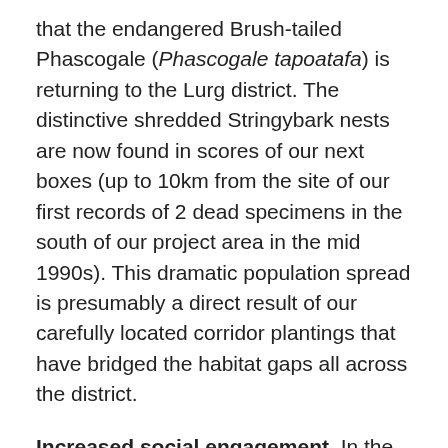that the endangered Brush-tailed Phascogale (Phascogale tapoatafa) is returning to the Lurg district. The distinctive shredded Stringybark nests are now found in scores of our next boxes (up to 10km from the site of our first records of 2 dead specimens in the south of our project area in the mid 1990s). This dramatic population spread is presumably a direct result of our carefully located corridor plantings that have bridged the habitat gaps all across the district.
Increased social engagement. In the last 6 years we have increased the number of visits to planting days by 50 per cent. There has been a steady growth in the number of new local landholders involved and the total number is now 160 landholders engaged, compared with 115 in 2009. Everyone we come across knows of the project and ...